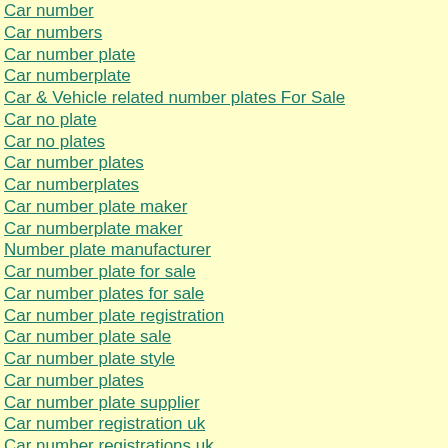Car number
Car numbers
Car number plate
Car numberplate
Car & Vehicle related number plates For Sale
Car no plate
Car no plates
Car number plates
Car numberplates
Car number plate maker
Car numberplate maker
Number plate manufacturer
Car number plate for sale
Car number plates for sale
Car number plate registration
Car number plate sale
Car number plate style
Car number plates
Car number plate supplier
Car number registration uk
Car number registrations uk
Car old plate reg